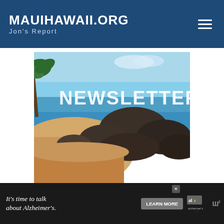MauiHawaii.org — Jon's Report
[Figure (photo): Beach and rocky shoreline in Maui with palm trees, turquoise ocean water, and large rocks. White text overlay reads 'NEWSLETTER' in large bold letters.]
It's time to talk about Alzheimer's.